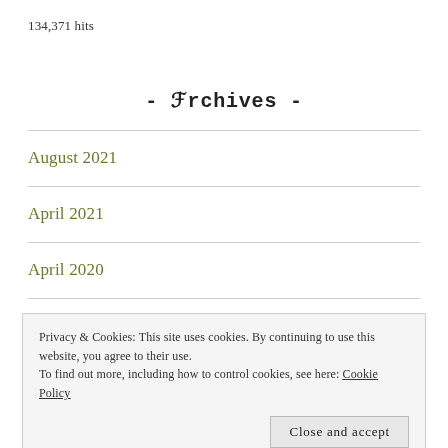134,371 hits
- Archives -
August 2021
April 2021
April 2020
March 2020
Privacy & Cookies: This site uses cookies. By continuing to use this website, you agree to their use.
To find out more, including how to control cookies, see here: Cookie Policy
Close and accept